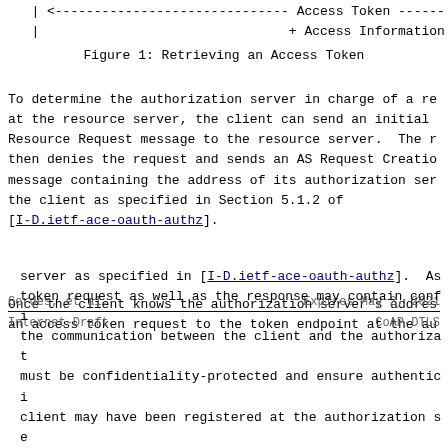[Figure (schematic): Partial diagram showing Access Token and Access Information labels with dashed arrow lines]
Figure 1: Retrieving an Access Token
To determine the authorization server in charge of a re at the resource server, the client can send an initial Resource Request message to the resource server.  The r then denies the request and sends an AS Request Creatio message containing the address of its authorization ser the client as specified in Section 5.1.2 of [I-D.ietf-ace-oauth-authz].
Once the client knows the authorization server's addres an access token request to the token endpoint at the au
Gerdes, et al.                     Expires May 2, 2021
Internet-Draft                      CoAP-DTLS
server as specified in [I-D.ietf-ace-oauth-authz].  As token request as well as the response may contain confi the communication between the client and the authorizat must be confidentiality-protected and ensure authentici client may have been registered at the authorization se